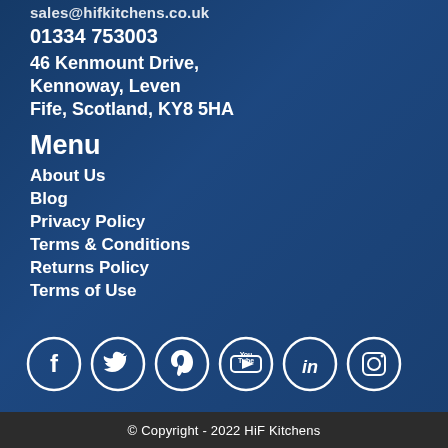sales@hifkitchens.co.uk
01334 753003
46 Kenmount Drive,
Kennoway, Leven
Fife, Scotland, KY8 5HA
Menu
About Us
Blog
Privacy Policy
Terms & Conditions
Returns Policy
Terms of Use
[Figure (infographic): Social media icons row: Facebook, Twitter, Pinterest, YouTube, LinkedIn, Instagram — white circle outlines with white icons on blue background]
© Copyright - 2022 HiF Kitchens